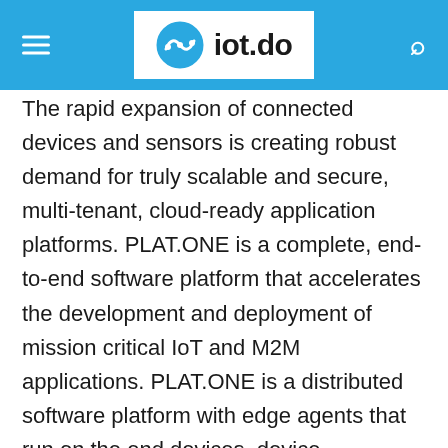iot.do
The rapid expansion of connected devices and sensors is creating robust demand for truly scalable and secure, multi-tenant, cloud-ready application platforms. PLAT.ONE is a complete, end-to-end software platform that accelerates the development and deployment of mission critical IoT and M2M applications. PLAT.ONE is a distributed software platform with edge agents that run on the end devices, device management and service enablement engines, and ‘big-data ready’ business rules, data management and application enablement platforms.